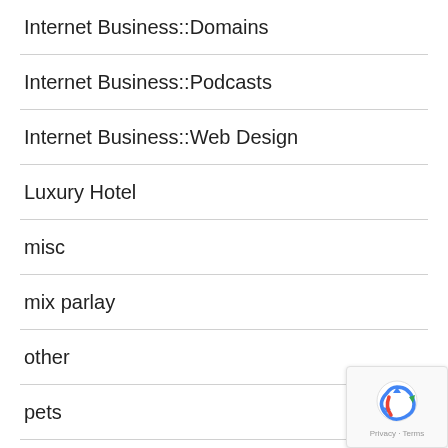Internet Business::Domains
Internet Business::Podcasts
Internet Business::Web Design
Luxury Hotel
misc
mix parlay
other
pets
Product Reviews::Consumer Electronics